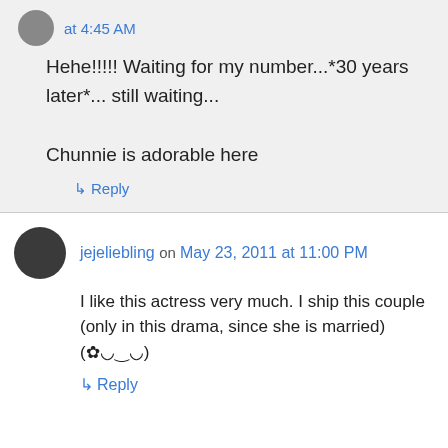at 4:45 AM
Hehe!!!!! Waiting for my number...*30 years later*... still waiting...

Chunnie is adorable here
↳ Reply
jejeliebling on May 23, 2011 at 11:00 PM
I like this actress very much. I ship this couple (only in this drama, since she is married) (✿◡‿◡)
↳ Reply